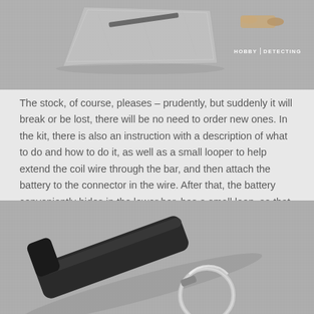[Figure (photo): Top photo of hobby detecting kit components including a bag and cylindrical tube on a grey carpet background, with HOBBY DETECTING watermark logo in top right.]
The stock, of course, pleases – prudently, but suddenly it will break or be lost, there will be no need to order new ones. In the kit, there is also an instruction with a description of what to do and how to do it, as well as a small looper to help extend the coil wire through the bar, and then attach the battery to the connector in the wire. After that, the battery conveniently hides in the lower bar, has a small loop, so that it would be more convenient to get the battery in the future (probably for a more simple replacement). I would not recommend such a kit to the water.
[Figure (photo): Bottom photo showing a black metal rod or handle with a circular keyring/loop attachment on grey carpet background.]